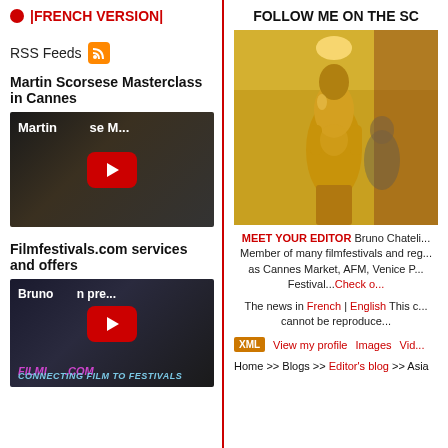|FRENCH VERSION|
RSS Feeds
Martin Scorsese Masterclass in Cannes
[Figure (screenshot): YouTube video thumbnail for Martin Scorsese Masterclass in Cannes with red play button]
Filmfestivals.com services and offers
[Figure (screenshot): YouTube video thumbnail for Bruno presenting Filmfestivals.com with red play button]
FOLLOW ME ON THE SC
[Figure (photo): Golden Oscar statue award trophy in a room setting]
MEET YOUR EDITOR Bruno Chateli... Member of many filmfestivals and reg... as Cannes Market, AFM, Venice P... Festival...Check o...
The news in French | English This c... cannot be reproduce...
XML  View my profile   Images   Vid...
Home >> Blogs >> Editor's blog >> Asia